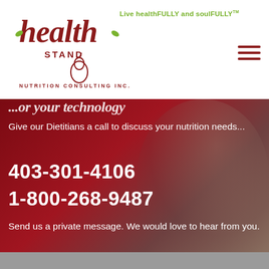[Figure (logo): Health Stand Nutrition Consulting Inc. logo with stylized script text and leaf/pear graphic]
Live healthFULLY and soulFULLY™
Give our Dietitians a call to discuss your nutrition needs...
403-301-4106
1-800-268-9487
Send us a private message. We would love to hear from you.
Share This ∨  ✕